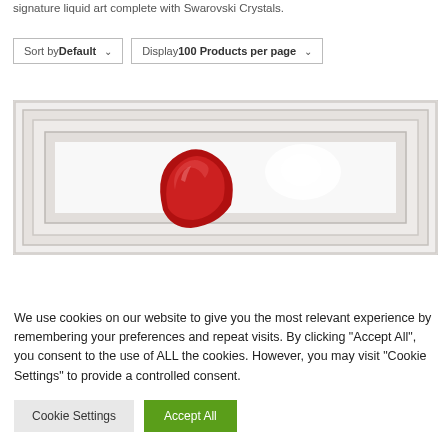signature liquid art complete with Swarovski Crystals.
Sort by Default   Display 100 Products per page
[Figure (photo): Framed artwork in a white ornate frame showing a red gemstone or crystal on a white background, partially visible]
We use cookies on our website to give you the most relevant experience by remembering your preferences and repeat visits. By clicking "Accept All", you consent to the use of ALL the cookies. However, you may visit "Cookie Settings" to provide a controlled consent.